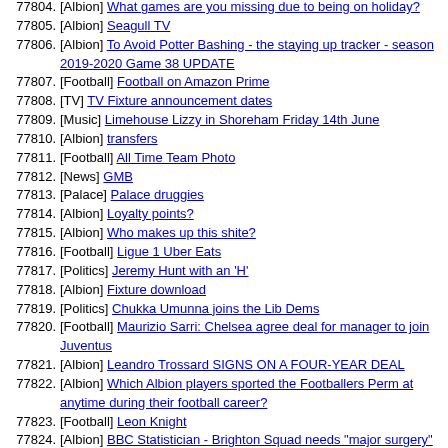77804. [Albion] What games are you missing due to being on holiday?
77805. [Albion] Seagull TV
77806. [Albion] To Avoid Potter Bashing - the staying up tracker - season 2019-2020 Game 38 UPDATE
77807. [Football] Football on Amazon Prime
77808. [TV] TV Fixture announcement dates
77809. [Music] Limehouse Lizzy in Shoreham Friday 14th June
77810. [Albion] transfers
77811. [Football] All Time Team Photo
77812. [News] GMB
77813. [Palace] Palace druggies
77814. [Albion] Loyalty points?
77815. [Albion] Who makes up this shite?
77816. [Football] Ligue 1 Uber Eats
77817. [Politics] Jeremy Hunt with an 'H'
77818. [Albion] Fixture download
77819. [Politics] Chukka Umunna joins the Lib Dems
77820. [Football] Maurizio Sarri: Chelsea agree deal for manager to join Juventus
77821. [Albion] Leandro Trossard SIGNS ON A FOUR-YEAR DEAL
77822. [Albion] Which Albion players sported the Footballers Perm at anytime during their football career?
77823. [Football] Leon Knight
77824. [Albion] BBC Statistician - Brighton Squad needs "major surgery"
77825. [Football] Are you watching and enjoying the Women's World Cup?
77826. [Misc] O/T Fitted wardrobe advice
77827. [Football] A friendly tap on the bum?